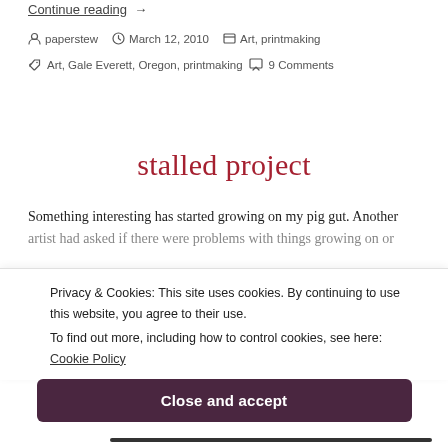Continue reading →
paperstew  March 12, 2010  Art, printmaking
Art, Gale Everett, Oregon, printmaking  9 Comments
stalled project
Something interesting has started growing on my pig gut. Another artist had asked if there were problems with things growing on or
Privacy & Cookies: This site uses cookies. By continuing to use this website, you agree to their use. To find out more, including how to control cookies, see here: Cookie Policy
Close and accept